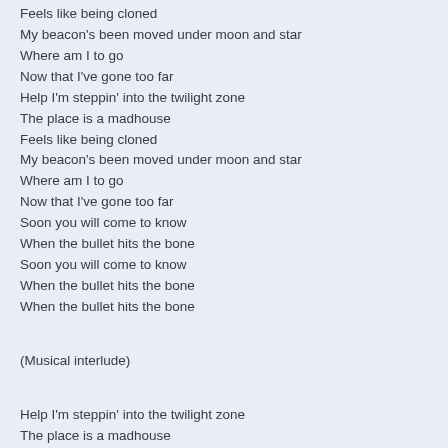Feels like being cloned
My beacon's been moved under moon and star
Where am I to go
Now that I've gone too far
Help I'm steppin' into the twilight zone
The place is a madhouse
Feels like being cloned
My beacon's been moved under moon and star
Where am I to go
Now that I've gone too far
Soon you will come to know
When the bullet hits the bone
Soon you will come to know
When the bullet hits the bone
When the bullet hits the bone

(Musical interlude)

Help I'm steppin' into the twilight zone
The place is a madhouse
Feels like being cloned
My beacon's been moved under moon and star
Where am I to go
Now that I've gone too far
Help I'm steppin' into the twilight zone
The place is a madhouse
Feels like being cloned
My beacon's been moved under moon and star
Where am I to go
Now that I've gone too far
Soon you will come to know